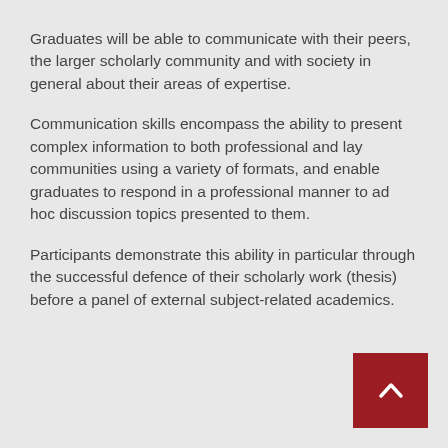Graduates will be able to communicate with their peers, the larger scholarly community and with society in general about their areas of expertise.
Communication skills encompass the ability to present complex information to both professional and lay communities using a variety of formats, and enable graduates to respond in a professional manner to ad hoc discussion topics presented to them.
Participants demonstrate this ability in particular through the successful defence of their scholarly work (thesis) before a panel of external subject-related academics.
[Figure (other): Dark red square button with a white upward-pointing chevron arrow, positioned at bottom-right corner of the page.]